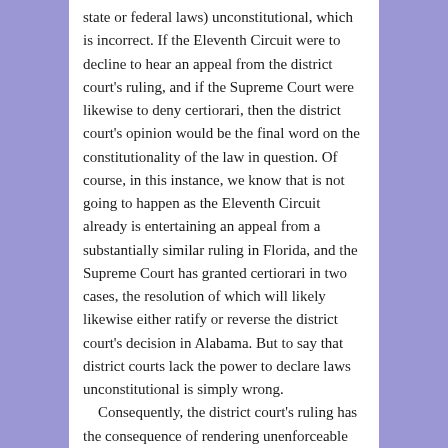state or federal laws) unconstitutional, which is incorrect. If the Eleventh Circuit were to decline to hear an appeal from the district court's ruling, and if the Supreme Court were likewise to deny certiorari, then the district court's opinion would be the final word on the constitutionality of the law in question. Of course, in this instance, we know that is not going to happen as the Eleventh Circuit already is entertaining an appeal from a substantially similar ruling in Florida, and the Supreme Court has granted certiorari in two cases, the resolution of which will likely likewise either ratify or reverse the district court's decision in Alabama. But to say that district courts lack the power to declare laws unconstitutional is simply wrong. Consequently, the district court's ruling has the consequence of rendering unenforceable the provision of Alabama law (and Alabama's constitution) that prohibits the issuing of licenses to same sex couples. In so holding, the district court stated that failing to issue a licenses to couple based solely on the fact that